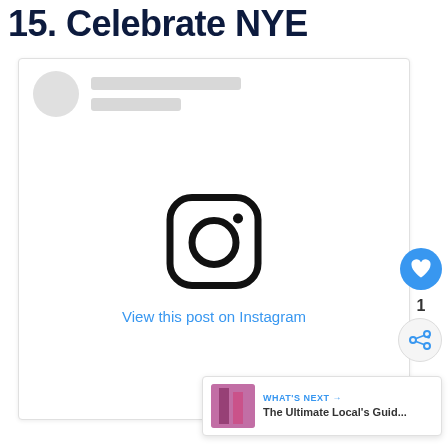15. Celebrate NYE
[Figure (screenshot): Embedded Instagram post card with placeholder avatar and profile lines, Instagram camera logo in center, and 'View this post on Instagram' link in blue text]
[Figure (infographic): What's Next banner with thumbnail image and text 'The Ultimate Local's Guid...']